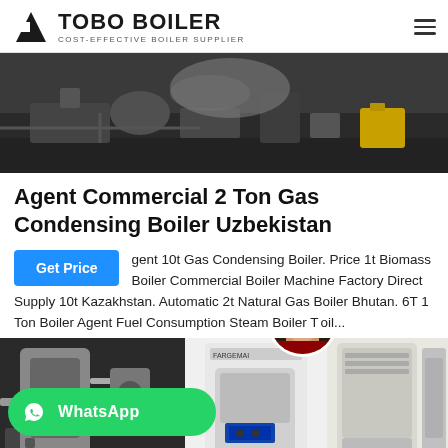TOBO BOILER — COST-EFFECTIVE BOILER SUPPLIER
[Figure (photo): Industrial boiler installation site with equipment and machinery in a warehouse or factory setting]
Agent Commercial 2 Ton Gas Condensing Boiler Uzbekistan
agent 10t Gas Condensing Boiler. Price 1t Biomass Boiler Commercial Boiler Machine Factory Direct Supply 10t Kazakhstan. Automatic 2t Natural Gas Boiler Bhutan. 6T 1 Ton Boiler Agent Fuel Consumption Steam Boiler T oil...
[Figure (photo): Three images of commercial gas condensing boilers: industrial boiler room with pipes, FARGEMAI branded boiler unit, and a large modern condensing boiler unit]